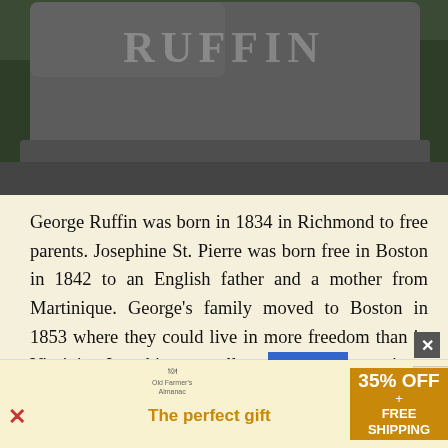[Figure (photo): Photograph of a granite gravestone with the name RUFFIN carved in raised letters at the top. The stone is dark gray/charcoal colored. Green grass or foliage is visible in the background.]
George Ruffin was born in 1834 in Richmond to free parents. Josephine St. Pierre was born free in Boston in 1842 to an English father and a mother from Martinique. George's family moved to Boston in 1853 where they could live in more freedom than in Virginia. Josephine actually was sent to a private school in New York City because her parents could find no integrated schools in Boston, but she came back to Beantown when some integrated schools opened. George and Josephine married in 1858. They headed to England for awhile to escape the nation after Dred Scott.
[Figure (other): Advertisement banner: 'The perfect gift' with 35% OFF + FREE SHIPPING offer, showing images of glassware and a bowl of nuts/food. Navigation arrows and close buttons visible.]